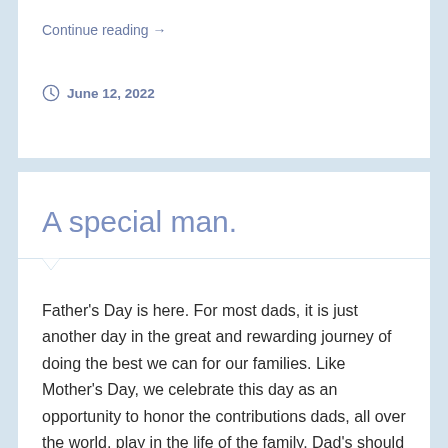Continue reading →
June 12, 2022
A special man.
Father's Day is here. For most dads, it is just another day in the great and rewarding journey of doing the best we can for our families. Like Mother's Day, we celebrate this day as an opportunity to honor the contributions dads, all over the world, play in the life of the family. Dad's should be honored and encouraged every day for